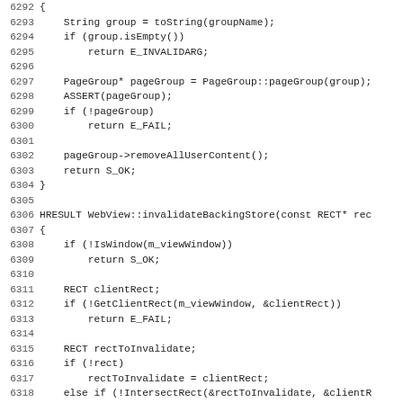Source code listing, lines 6292-6323, C++ implementation of WebView methods including group removal and invalidateBackingStore.